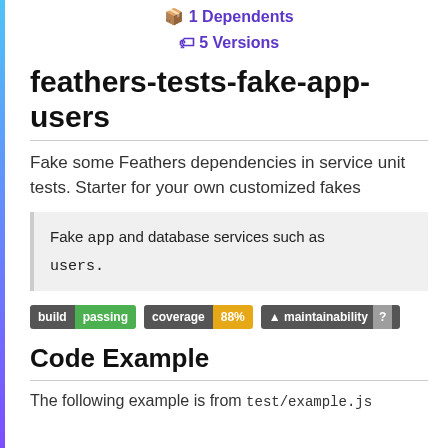1 Dependents
5 Versions
feathers-tests-fake-app-users
Fake some Feathers dependencies in service unit tests. Starter for your own customized fakes
Fake app and database services such as users.
[Figure (other): Build badges showing: build passing, coverage 88%, maintainability ?]
Code Example
The following example is from test/example.js